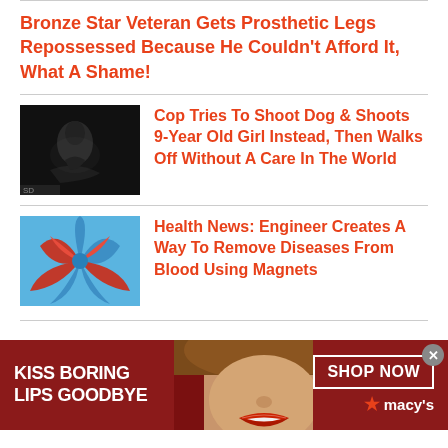Bronze Star Veteran Gets Prosthetic Legs Repossessed Because He Couldn't Afford It, What A Shame!
Cop Tries To Shoot Dog & Shoots 9-Year Old Girl Instead, Then Walks Off Without A Care In The World
Health News: Engineer Creates A Way To Remove Diseases From Blood Using Magnets
[Figure (photo): Dark night-vision or low-light photo showing a figure on the ground]
[Figure (photo): Colorful abstract image with blue and red swirling patterns, possibly flowers or cells]
[Figure (photo): Advertisement banner: KISS BORING LIPS GOODBYE - woman's face with red lips - SHOP NOW - Macy's logo]